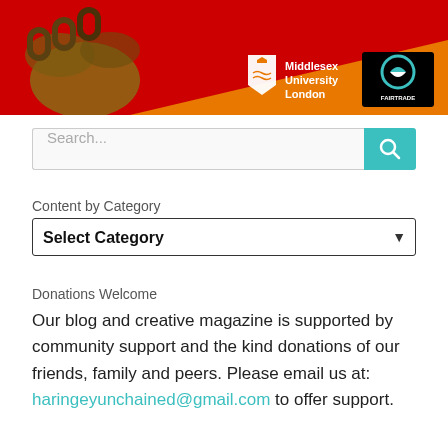[Figure (illustration): Banner image with red and orange diagonal background, rusted chain on the left, Middlesex University London logo and Fairtrade logo on the right]
Search...
Content by Category
Select Category
Donations Welcome
Our blog and creative magazine is supported by community support and the kind donations of our friends, family and peers. Please email us at: haringeyunchained@gmail.com to offer support.